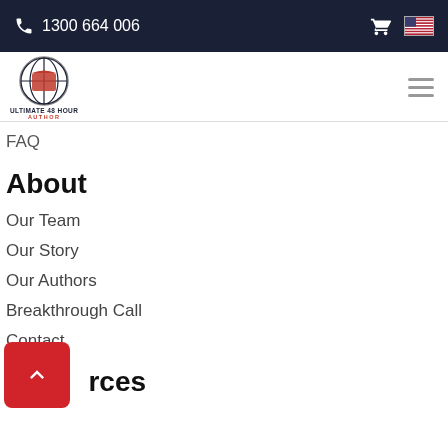1300 664 006
[Figure (logo): Ultimate 48 Hour Author logo — red and dark blue globe icon with text]
FAQ
About
Our Team
Our Story
Our Authors
Breakthrough Call
Contact
Resources